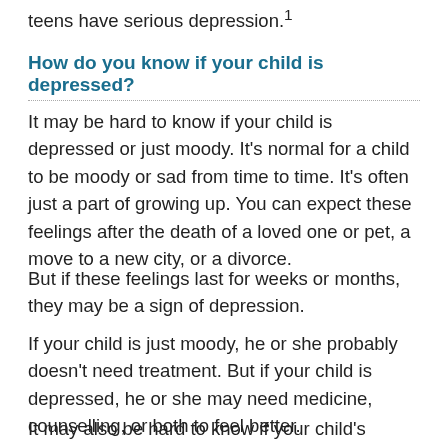teens have serious depression.1
How do you know if your child is depressed?
It may be hard to know if your child is depressed or just moody. It's normal for a child to be moody or sad from time to time. It's often just a part of growing up. You can expect these feelings after the death of a loved one or pet, a move to a new city, or a divorce.
But if these feelings last for weeks or months, they may be a sign of depression.
If your child is just moody, he or she probably doesn't need treatment. But if your child is depressed, he or she may need medicine, counselling, or both to feel better.
It may also be hard to know if your child's symptoms are caused by something other